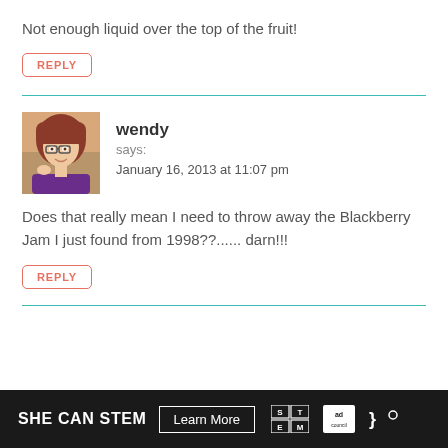Not enough liquid over the top of the fruit!
REPLY
wendy
says:
January 16, 2013 at 11:07 pm
Does that really mean I need to throw away the Blackberry Jam I just found from 1998??...... darn!!!
REPLY
[Figure (photo): Profile photo of commenter Wendy, a woman with reddish hair and glasses, wearing a purple top]
SHE CAN STEM  Learn More